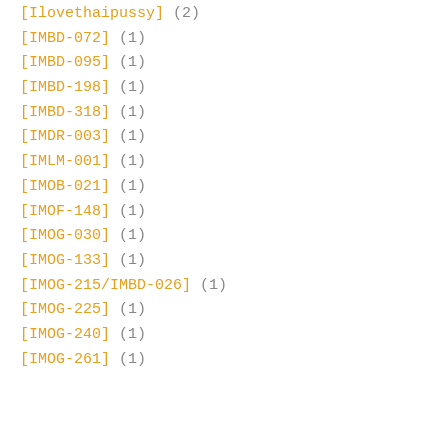[Ilovethaipussy] (2)
[IMBD-072] (1)
[IMBD-095] (1)
[IMBD-198] (1)
[IMBD-318] (1)
[IMDR-003] (1)
[IMLM-001] (1)
[IMOB-021] (1)
[IMOF-148] (1)
[IMOG-030] (1)
[IMOG-133] (1)
[IMOG-215/IMBD-026] (1)
[IMOG-225] (1)
[IMOG-240] (1)
[IMOG-261] (1)